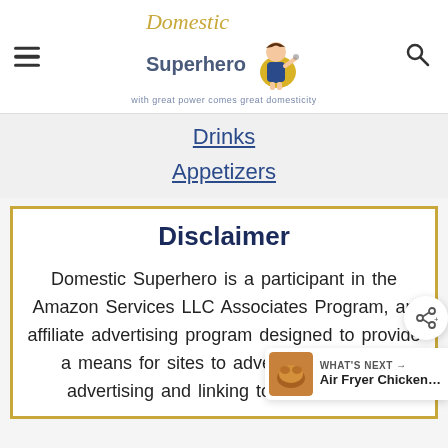Domestic Superhero — with great power comes great domesticity
Drinks
Appetizers
Disclaimer
Domestic Superhero is a participant in the Amazon Services LLC Associates Program, an affiliate advertising program designed to provide a means for sites to advertising fees by advertising and linking to amazon.com